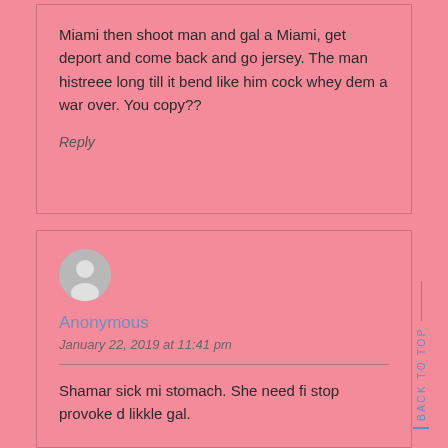Miami then shoot man and gal a Miami, get deport and come back and go jersey. The man histreee long till it bend like him cock whey dem a war over. You copy??
Reply
[Figure (illustration): Anonymous user avatar - grey silhouette of a person on a light grey circle background]
Anonymous
January 22, 2019 at 11:41 pm
Shamar sick mi stomach. She need fi stop provoke d likkle gal.